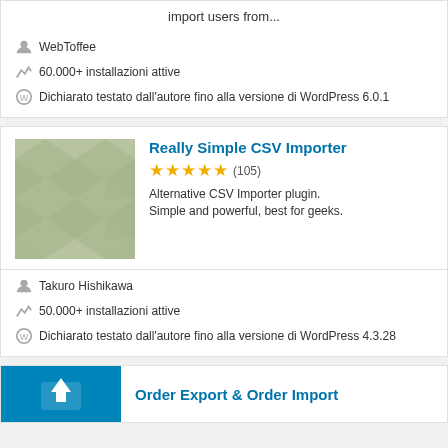import users from...
WebToffee
60.000+ installazioni attive
Dichiarato testato dall'autore fino alla versione di WordPress 6.0.1
Really Simple CSV Importer
★★★★★ (105)
Alternative CSV Importer plugin. Simple and powerful, best for geeks.
Takuro Hishikawa
50.000+ installazioni attive
Dichiarato testato dall'autore fino alla versione di WordPress 4.3.28
Order Export & Order Import